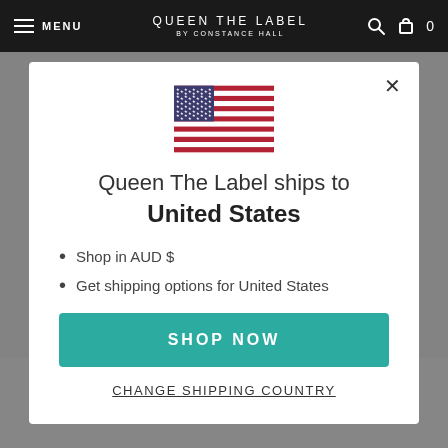MENU | QUEEN THE LABEL BY CONSTANCE HALL | 0
[Figure (illustration): US flag emoji/icon displayed in the modal]
Queen The Label ships to United States
Shop in AUD $
Get shipping options for United States
SHOP NOW
CHANGE SHIPPING COUNTRY
not anyone else, the lipstick feels amazing, I put it on under my other lipsticks as it feels so nice. So for my colour loving sisters...